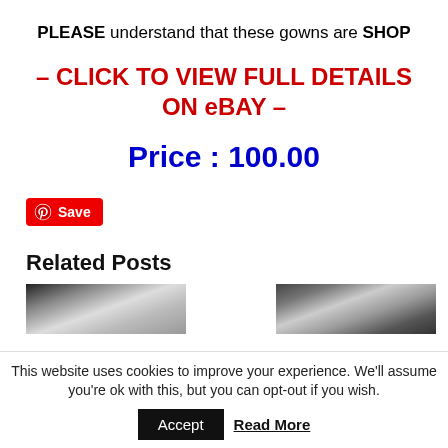PLEASE understand that these gowns are SHOP
– CLICK TO VIEW FULL DETAILS ON eBAY –
Price : 100.00
[Figure (other): Red Pinterest Save button with circular P logo icon]
Related Posts
[Figure (photo): Two thumbnail images side by side: left shows white fabric/gown, right shows dark patterned fabric with person]
This website uses cookies to improve your experience. We'll assume you're ok with this, but you can opt-out if you wish.
Accept   Read More